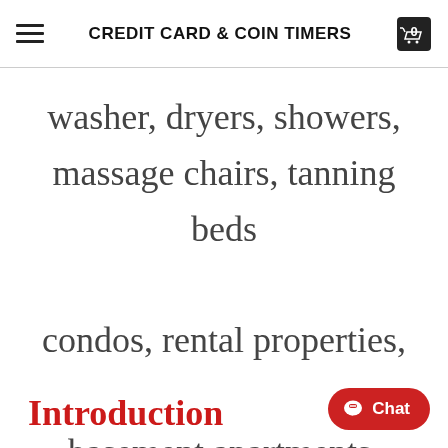CREDIT CARD & COIN TIMERS
washer, dryers, showers, massage chairs, tanning beds condos, rental properties, basement apartments, student housing
Introduction